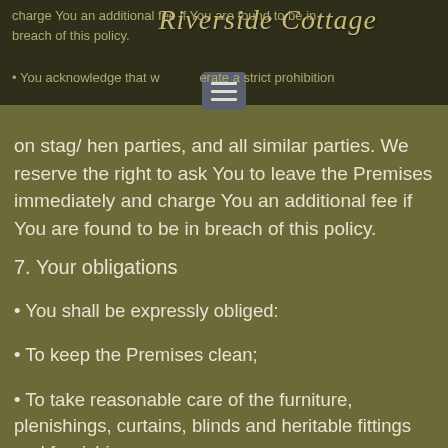charge You an additional fee if You are found to be in breach of this policy.
• You acknowledge that we operate a strict prohibition
on stag/ hen parties, and all similar parties. We reserve the right to ask You to leave the Premises immediately and charge You an additional fee if You are found to be in breach of this policy.
7. Your obligations
• You shall be expressly obliged:
• To keep the Premises clean;
• To take reasonable care of the furniture, plenishings, curtains, blinds and heritable fittings and furnishings;
• Not to mark walls, doors and fittings of the Premises;
• Not to alter, decorate or paint any part of the subjects;
• To ensure that all locks to doors and windows of the